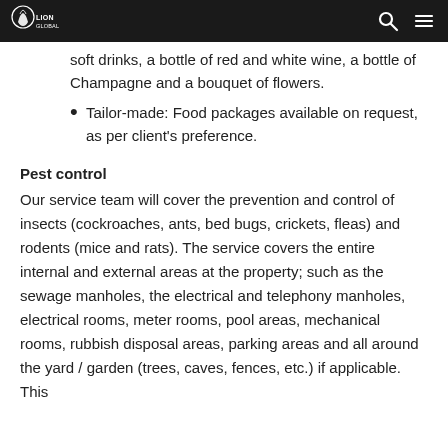LionGlobal logo, search icon, menu icon
soft drinks, a bottle of red and white wine, a bottle of Champagne and a bouquet of flowers.
Tailor-made: Food packages available on request, as per client's preference.
Pest control
Our service team will cover the prevention and control of insects (cockroaches, ants, bed bugs, crickets, fleas) and rodents (mice and rats). The service covers the entire internal and external areas at the property; such as the sewage manholes, the electrical and telephony manholes, electrical rooms, meter rooms, pool areas, mechanical rooms, rubbish disposal areas, parking areas and all around the yard / garden (trees, caves, fences, etc.) if applicable. This